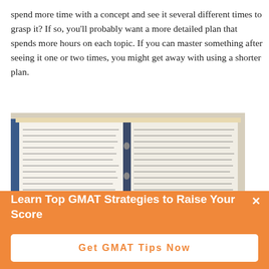spend more time with a concept and see it several different times to grasp it? If so, you'll probably want a more detailed plan that spends more hours on each topic. If you can master something after seeing it one or two times, you might get away with using a shorter plan.
[Figure (photo): A worn spiral-bound notebook open to pages filled with dense handwritten math equations and notes.]
Learn Top GMAT Strategies to Raise Your Score
Get GMAT Tips Now